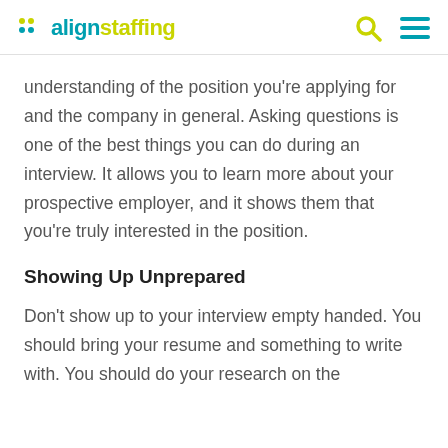alignstaffing
understanding of the position you’re applying for and the company in general. Asking questions is one of the best things you can do during an interview. It allows you to learn more about your prospective employer, and it shows them that you’re truly interested in the position.
Showing Up Unprepared
Don’t show up to your interview empty handed. You should bring your resume and something to write with. You should do your research on the